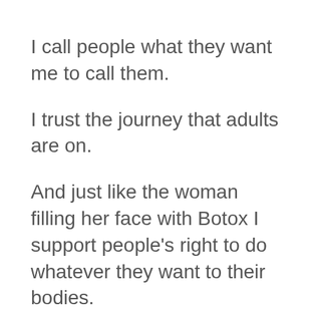I call people what they want me to call them.
I trust the journey that adults are on.
And just like the woman filling her face with Botox I support people's right to do whatever they want to their bodies.
Because I fully believe in my body my choice all the way through